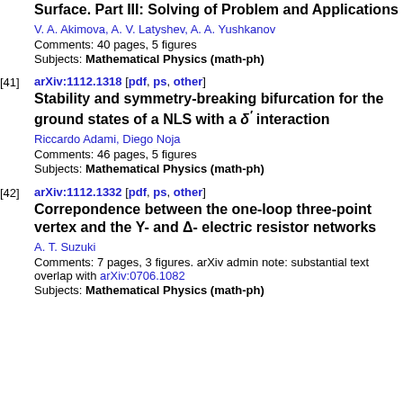Surface. Part III: Solving of Problem and Applications
V. A. Akimova, A. V. Latyshev, A. A. Yushkanov
Comments: 40 pages, 5 figures
Subjects: Mathematical Physics (math-ph)
[41] arXiv:1112.1318 [pdf, ps, other] Stability and symmetry-breaking bifurcation for the ground states of a NLS with a δ′ interaction — Riccardo Adami, Diego Noja. Comments: 46 pages, 5 figures. Subjects: Mathematical Physics (math-ph)
[42] arXiv:1112.1332 [pdf, ps, other] Correpondence between the one-loop three-point vertex and the Y- and Δ- electric resistor networks — A. T. Suzuki. Comments: 7 pages, 3 figures. arXiv admin note: substantial text overlap with arXiv:0706.1082. Subjects: Mathematical Physics (math-ph)